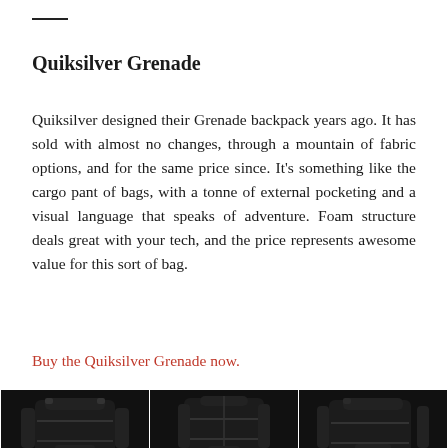Quiksilver Grenade
Quiksilver designed their Grenade backpack years ago. It has sold with almost no changes, through a mountain of fabric options, and for the same price since. It’s something like the cargo pant of bags, with a tonne of external pocketing and a visual language that speaks of adventure. Foam structure deals great with your tech, and the price represents awesome value for this sort of bag.
Buy the Quiksilver Grenade now.
[Figure (photo): Three photos of the Quiksilver Grenade backpack shown from different angles, all in black, displayed side by side at the bottom of the page.]